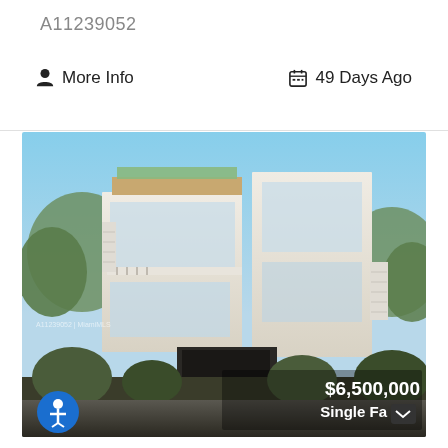A11239052
More Info
49 Days Ago
[Figure (photo): Exterior rendering of a modern multi-story luxury residential property with white facade, large glass windows, rooftop terrace with greenery, and lush tropical landscaping in the foreground. Price overlay shows $6,500,000 and 'Single Fa' with a chevron.]